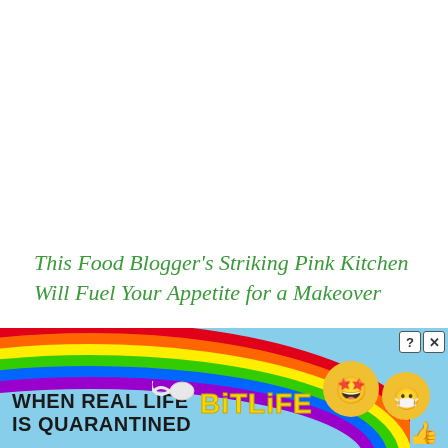This Food Blogger's Striking Pink Kitchen Will Fuel Your Appetite for a Makeover
top story
[Figure (infographic): Advertisement banner for BitLife game with rainbow background, text 'WHEN REAL LIFE IS QUARANTINED', BitLife logo in yellow, sperm icon, and emoji characters with masks]